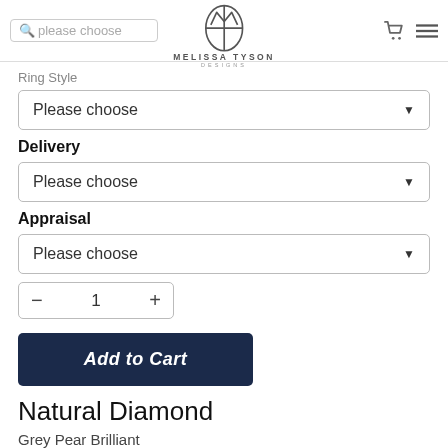Melissa Tyson Designs — navigation header with search, logo, cart, and menu
Ring Style
Please choose
Delivery
Please choose
Appraisal
Please choose
1
Add to Cart
Natural Diamond
Grey Pear Brilliant